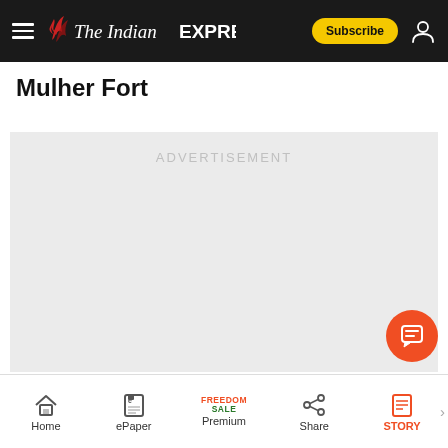The Indian Express — Subscribe
Mulher Fort
[Figure (other): Advertisement placeholder area with light grey background and 'ADVERTISEMENT' label]
Home | ePaper | Premium (Freedom Sale) | Share | STORY